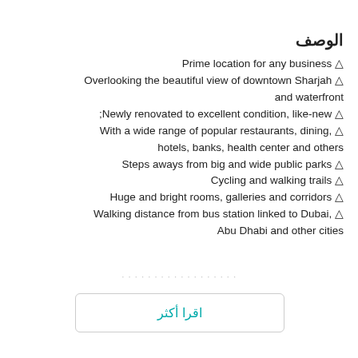الوصف
△ Prime location for any business
△ Overlooking the beautiful view of downtown Sharjah and waterfront
△ Newly renovated to excellent condition, like-new;
△ With a wide range of popular restaurants, dining, hotels, banks, health center and others
△ Steps aways from big and wide public parks
△ Cycling and walking trails
△ Huge and bright rooms, galleries and corridors
△ Walking distance from bus station linked to Dubai, Abu Dhabi and other cities
اقرا أكثر